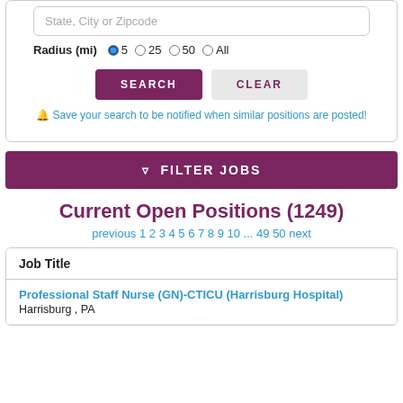State, City or Zipcode
Radius (mi) 5 25 50 All
SEARCH   CLEAR
🔔 Save your search to be notified when similar positions are posted!
▼ FILTER JOBS
Current Open Positions (1249)
previous 1 2 3 4 5 6 7 8 9 10 ... 49 50 next
| Job Title |
| --- |
| Professional Staff Nurse (GN)-CTICU (Harrisburg Hospital)
Harrisburg , PA |